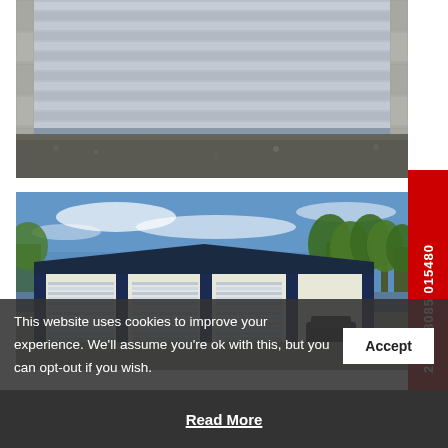[Figure (photo): Close-up photo of a corrugated metal roller shutter door installed on a building with stone/brick wall, gravel ground in front.]
[Figure (photo): Photo of an industrial warehouse/storage building with white cladding and dark blue trim, featuring three white roller shutter doors, with trees and blue sky in background.]
24/7 08085 015480
This website uses cookies to improve your experience. We'll assume you're ok with this, but you can opt-out if you wish.
Accept
Read More